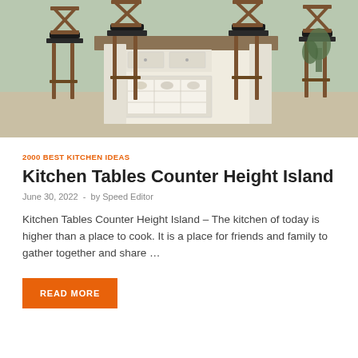[Figure (photo): A kitchen island with white/cream cabinetry featuring glass-front storage and wine rack cubbies, surrounded by wooden bar stools with black cushioned seats, set on a light-toned floor.]
2000 BEST KITCHEN IDEAS
Kitchen Tables Counter Height Island
June 30, 2022  -  by Speed Editor
Kitchen Tables Counter Height Island – The kitchen of today is higher than a place to cook. It is a place for friends and family to gather together and share …
READ MORE